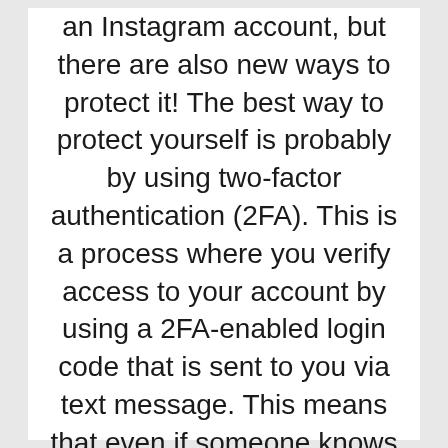an Instagram account, but there are also new ways to protect it! The best way to protect yourself is probably by using two-factor authentication (2FA). This is a process where you verify access to your account by using a 2FA-enabled login code that is sent to you via text message. This means that even if someone knows your username, password, email address and knows your phone number then they'll still not be able to get access to the account. Unless they know the 2FA code, they won't gain access.